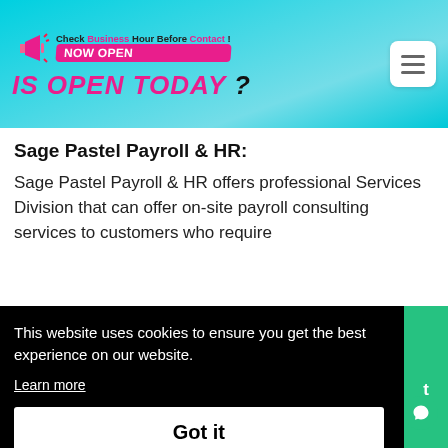Check Business Hour Before Contact! IS OPEN TODAY ?
Sage Pastel Payroll & HR:
Sage Pastel Payroll & HR offers professional Services Division that can offer on-site payroll consulting services to customers who require
This website uses cookies to ensure you get the best experience on our website. Learn more
Got it
+1-516-472-4994